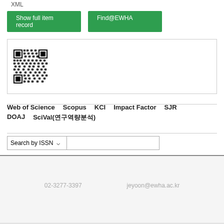XML
Show full item record
Find@EWHA
[Figure (other): QR code image]
Web of Science   Scopus   KCI   Impact Factor   SJR   DOAJ   SciVal(연구역량분석)
Search by ISSN
02-3277-3397   jeyoon@ewha.ac.kr